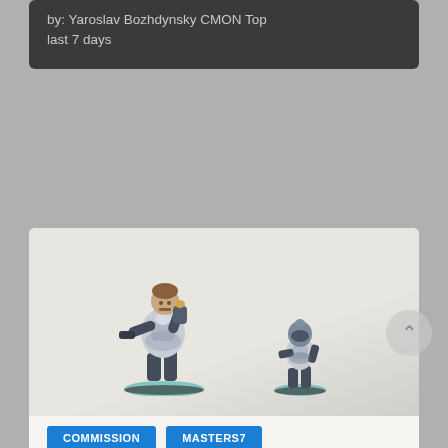by: Yaroslav Bozhdynsky CMON Top last 7 days
[Figure (photo): Two painted miniature figures on teal-rimmed bases against a light background. The larger figure is an armored warrior in a dynamic pose with a mechanical arm extended. The smaller figure is a shorter armored character in a running pose. Blue tags at the bottom read COMMISSION and MASTERS7.]
COMMISSION   MASTERS7